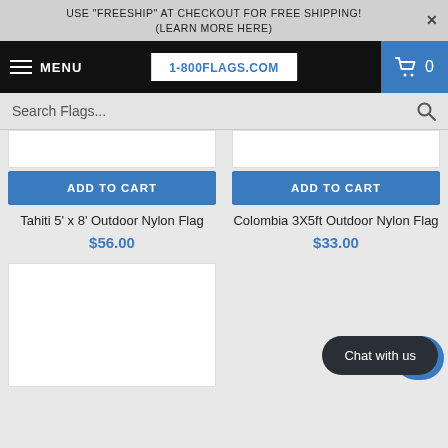USE "FREESHIP" AT CHECKOUT FOR FREE SHIPPING! (LEARN MORE HERE)
[Figure (screenshot): Navigation bar with hamburger menu, MENU label, 1-800FLAGS.COM logo, and shopping cart]
Search Flags...
[Figure (other): White product image box (partially visible)]
ADD TO CART
Tahiti 5' x 8' Outdoor Nylon Flag
$56.00
[Figure (other): White product image box (partially visible)]
ADD TO CART
Colombia 3X5ft Outdoor Nylon Flag
$33.00
[Figure (other): White product image box (partially visible, bottom row)]
Chat with us